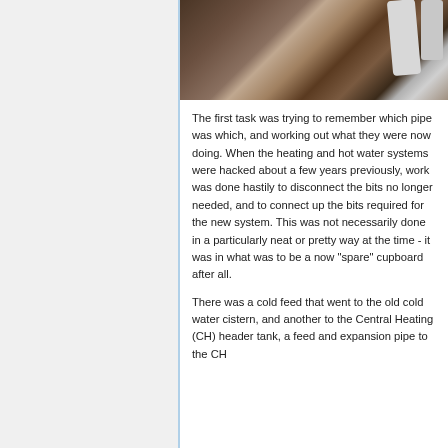[Figure (photo): Photograph of old plumbing pipes in a cupboard, showing copper and white pipes against a dark background]
The first task was trying to remember which pipe was which, and working out what they were now doing. When the heating and hot water systems were hacked about a few years previously, work was done hastily to disconnect the bits no longer needed, and to connect up the bits required for the new system. This was not necessarily done in a particularly neat or pretty way at the time - it was in what was to be a now "spare" cupboard after all.
There was a cold feed that went to the old cold water cistern, and another to the Central Heating (CH) header tank, a feed and expansion pipe to the CH